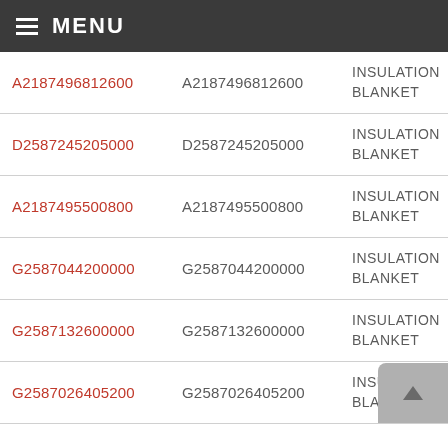MENU
A2187496812600 | A2187496812600 | INSULATION BLANKET
D2587245205000 | D2587245205000 | INSULATION BLANKET
A2187495500800 | A2187495500800 | INSULATION BLANKET
G2587044200000 | G2587044200000 | INSULATION BLANKET
G2587132600000 | G2587132600000 | INSULATION BLANKET
G2587026405200 | G2587026405200 | INSULATION BLANKET